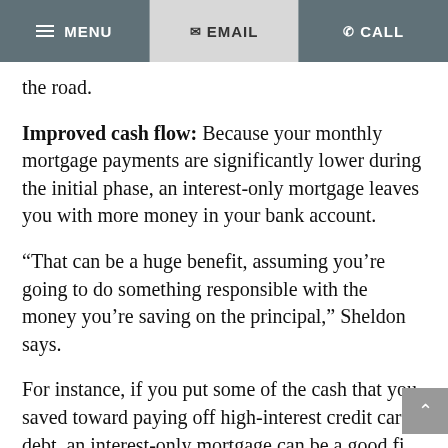≡ MENU   ✉ EMAIL   ✆ CALL
the road.
Improved cash flow: Because your monthly mortgage payments are significantly lower during the initial phase, an interest-only mortgage leaves you with more money in your bank account.
“That can be a huge benefit, assuming you’re going to do something responsible with the money you’re saving on the principal,” Sheldon says.
For instance, if you put some of the cash that you saved toward paying off high-interest credit card debt, an interest-only mortgage can be a good financial move, at least...